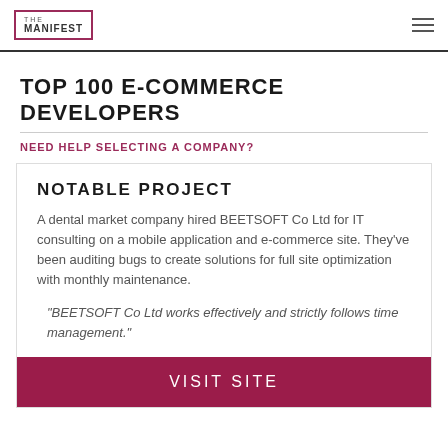THE MANIFEST
TOP 100 E-COMMERCE DEVELOPERS
NEED HELP SELECTING A COMPANY?
NOTABLE PROJECT
A dental market company hired BEETSOFT Co Ltd for IT consulting on a mobile application and e-commerce site. They've been auditing bugs to create solutions for full site optimization with monthly maintenance.
"BEETSOFT Co Ltd works effectively and strictly follows time management."
VISIT SITE